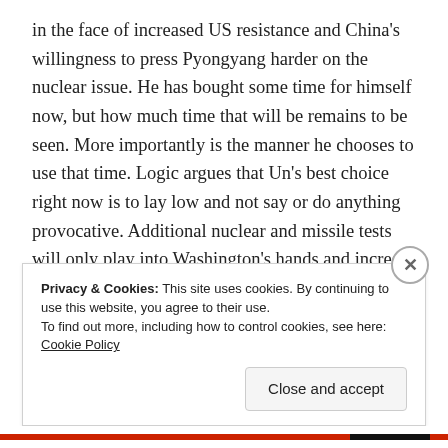in the face of increased US resistance and China's willingness to press Pyongyang harder on the nuclear issue. He has bought some time for himself now, but how much time that will be remains to be seen. More importantly is the manner he chooses to use that time. Logic argues that Un's best choice right now is to lay low and not say or do anything provocative. Additional nuclear and missile tests will only play into Washington's hands and increase the political pressure on Pyongyang to curtail its ambitions.
Privacy & Cookies: This site uses cookies. By continuing to use this website, you agree to their use. To find out more, including how to control cookies, see here: Cookie Policy